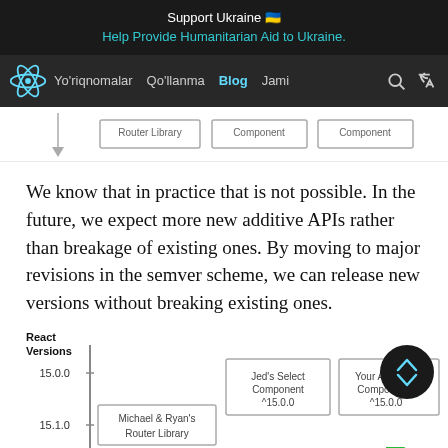Support Ukraine 🇺🇦
Help Provide Humanitarian Aid to Ukraine.
Yo'riqnomalar  Qo'llanma  Blog  Jami
[Figure (flowchart): Partial diagram showing Router Library, Component, and Component boxes with a downward arrow on left]
We know that in practice that is not possible. In the future, we expect more new additive APIs rather than breakage of existing ones. By moving to major revisions in the semver scheme, we can release new versions without breaking existing ones.
[Figure (flowchart): React Versions diagram showing 15.0.0 and 15.1.0 rows with Michael & Ryan's Router Library, Jed's Select Component ^15.0.0, and Your Autocom... Componen... ^15.0.0 boxes]